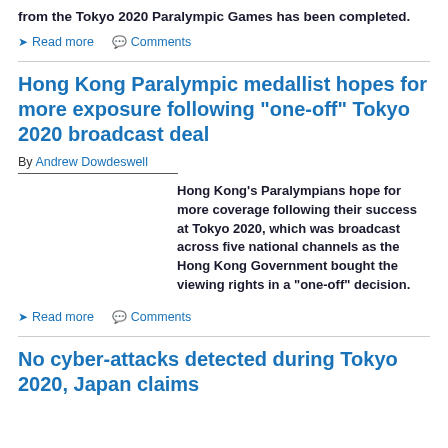from the Tokyo 2020 Paralympic Games has been completed.
Read more   Comments
Hong Kong Paralympic medallist hopes for more exposure following "one-off" Tokyo 2020 broadcast deal
By Andrew Dowdeswell
Hong Kong's Paralympians hope for more coverage following their success at Tokyo 2020, which was broadcast across five national channels as the Hong Kong Government bought the viewing rights in a "one-off" decision.
Read more   Comments
No cyber-attacks detected during Tokyo 2020, Japan claims